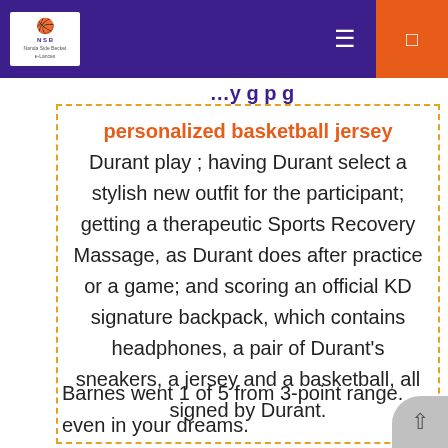NSB (logo navigation bar with hamburger menu and orange button)
personalized basketball jersey Durant play ; having Durant select a stylish new outfit for the participant; getting a therapeutic Sports Recovery Massage, as Durant does after practice or a game; and scoring an official KD signature backpack, which contains headphones, a pair of Durant’s sneakers, a jersey and a basketball, all signed by Durant.
Barnes went 1 of 5 from 3-point range.
even in your dreams.
Becky Lynch 7.
Putting one of high-heeled feet on a soccer ball and striking a pose reminiscent of Mrs.
Kobe Bryant 7.
First up on this week’s episode, Rupert Cox catches up